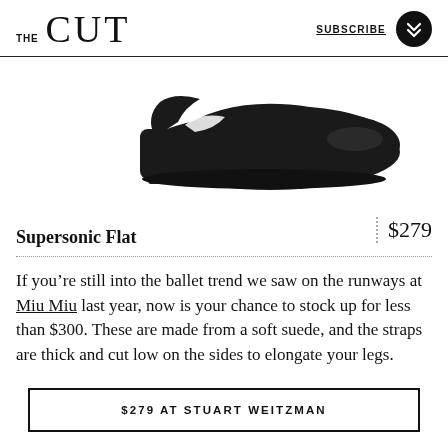THE CUT  SUBSCRIBE
[Figure (photo): A black suede slingback ballet flat shoe with a low block heel, photographed on white background from a side angle.]
Supersonic Flat   $279
If you’re still into the ballet trend we saw on the runways at Miu Miu last year, now is your chance to stock up for less than $300. These are made from a soft suede, and the straps are thick and cut low on the sides to elongate your legs.
$279 AT STUART WEITZMAN